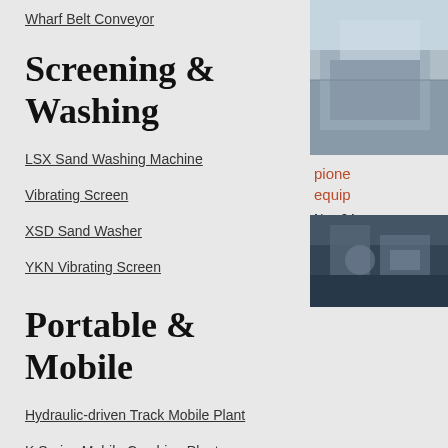Wharf Belt Conveyor
Screening & Washing
LSX Sand Washing Machine
Vibrating Screen
XSD Sand Washer
YKN Vibrating Screen
Portable & Mobile
Hydraulic-driven Track Mobile Plant
K Series Mobile Crushing Plant
Mobile Cone Crusher
Mobile Impact Crusher
[Figure (photo): Industrial building exterior photo, partially visible on right side]
pione equip
Nov 04 selectio Crushe you at b 3042, R
[Figure (photo): Industrial machinery or facility interior photo, partially visible at bottom right]